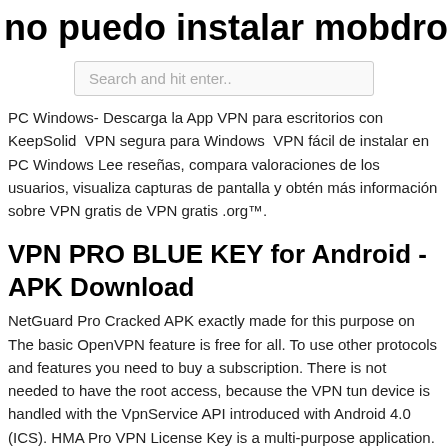no puedo instalar mobdro en android
Search and hit enter..
PC Windows- Descarga la App VPN para escritorios con KeepSolid VPN segura para Windows VPN fácil de instalar en PC Windows Lee reseñas, compara valoraciones de los usuarios, visualiza capturas de pantalla y obtén más información sobre VPN gratis de VPN gratis .org™.
VPN PRO BLUE KEY for Android - APK Download
NetGuard Pro Cracked APK exactly made for this purpose on The basic OpenVPN feature is free for all. To use other protocols and features you need to buy a subscription. There is not needed to have the root access, because the VPN tun device is handled with the VpnService API introduced with Android 4.0 (ICS). HMA Pro VPN License Key is a multi-purpose application.
Descarga de VPN gratis